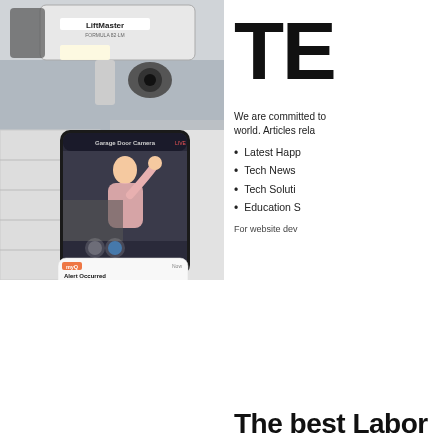[Figure (photo): LiftMaster garage door opener mounted to ceiling, with a smartphone showing a garage door camera app and an alert notification reading 'Alert Occurred – Garage door opened 11:00 PM, June 11.']
TE
We are committed to world. Articles rela
Latest Happ
Tech News
Tech Soluti
Education S
For website dev
The best Labor